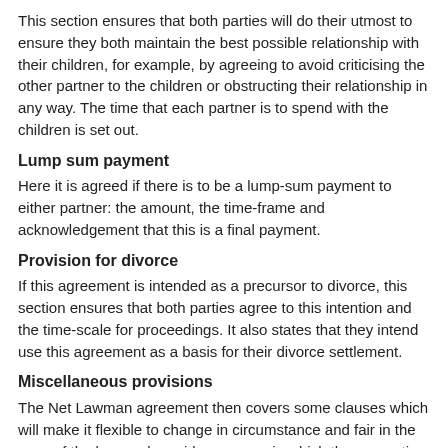This section ensures that both parties will do their utmost to ensure they both maintain the best possible relationship with their children, for example, by agreeing to avoid criticising the other partner to the children or obstructing their relationship in any way. The time that each partner is to spend with the children is set out.
Lump sum payment
Here it is agreed if there is to be a lump-sum payment to either partner: the amount, the time-frame and acknowledgement that this is a final payment.
Provision for divorce
If this agreement is intended as a precursor to divorce, this section ensures that both parties agree to this intention and the time-scale for proceedings. It also states that they intend use this agreement as a basis for their divorce settlement.
Miscellaneous provisions
The Net Lawman agreement then covers some clauses which will make it flexible to change in circumstance and fair in the eyes of the law, and provides a space in which the separating couple put their signatures.